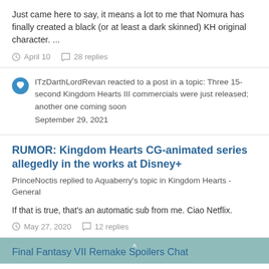Just came here to say, it means a lot to me that Nomura has finally created a black (or at least a dark skinned) KH original character. ...
April 10   28 replies
ITzDarthLordRevan reacted to a post in a topic: Three 15-second Kingdom Hearts III commercials were just released; another one coming soon
September 29, 2021
RUMOR: Kingdom Hearts CG-animated series allegedly in the works at Disney+
PrinceNoctis replied to Aquaberry's topic in Kingdom Hearts - General
If that is true, that's an automatic sub from me. Ciao Netflix.
May 27, 2020   12 replies
Final Fantasy VII Remake Spoilers Chat